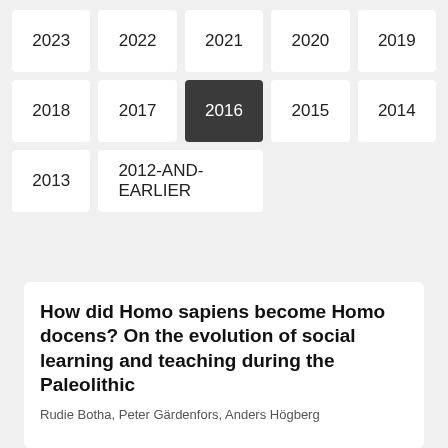2023
2022
2021
2020
2019
2018
2017
2016 (active)
2015
2014
2013
2012-AND-EARLIER
How did Homo sapiens become Homo docens? On the evolution of social learning and teaching during the Paleolithic
Rudie Botha, Peter Gärdenfors, Anders Högberg